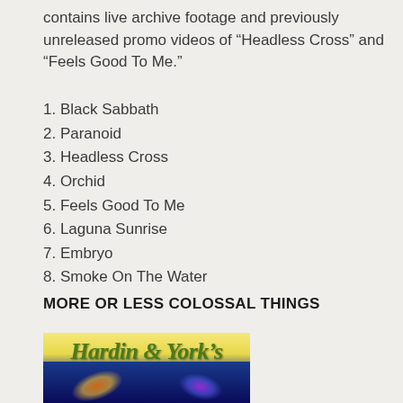contains live archive footage and previously unreleased promo videos of “Headless Cross” and “Feels Good To Me.”
1. Black Sabbath
2. Paranoid
3. Headless Cross
4. Orchid
5. Feels Good To Me
6. Laguna Sunrise
7. Embryo
8. Smoke On The Water
MORE OR LESS COLOSSAL THINGS
[Figure (photo): Album or product image showing stylized cursive text 'Hardin & York's' on a yellow-green background above a dark blue concert/stage photo with colored stage lights.]